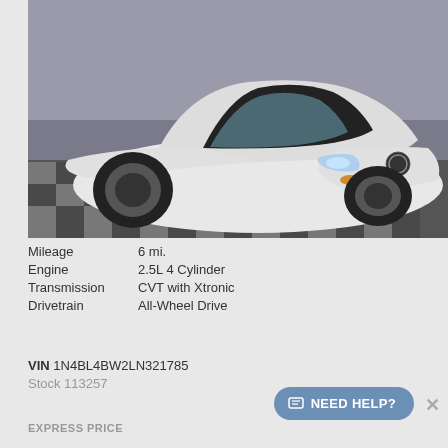[Figure (photo): White Nissan Altima sedan photographed from front-left angle in a showroom with black and white checkered floor tiles.]
| Mileage | 6 mi. |
| Engine | 2.5L 4 Cylinder |
| Transmission | CVT with Xtronic |
| Drivetrain | All-Wheel Drive |
VIN 1N4BL4BW2LN321785
Stock 113257
EXPRESS PRICE